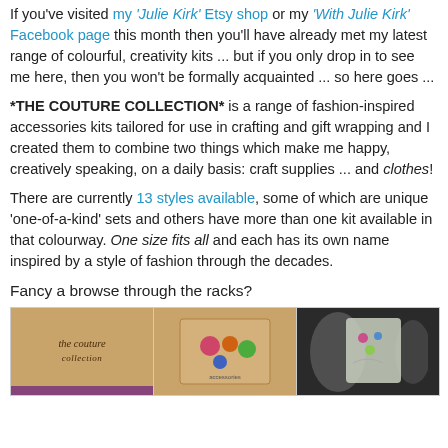If you've visited my 'Julie Kirk' Etsy shop or my 'With Julie Kirk' Facebook page this month then you'll have already met my latest range of colourful, creativity kits ... but if you only drop in to see me here, then you won't be formally acquainted ... so here goes ...
*THE COUTURE COLLECTION* is a range of fashion-inspired accessories kits tailored for use in crafting and gift wrapping and I created them to combine two things which make me happy, creatively speaking, on a daily basis: craft supplies ... and clothes!
There are currently 13 styles available, some of which are unique 'one-of-a-kind' sets and others have more than one kit available in that colourway. One size fits all and each has its own name inspired by a style of fashion through the decades.
Fancy a browse through the racks?
[Figure (photo): Three product images side by side: left shows a kraft paper label reading 'the couture collection' with a purple ribbon accent; middle shows craft supplies/buttons on a card; right shows patterned fabric items on dark background.]